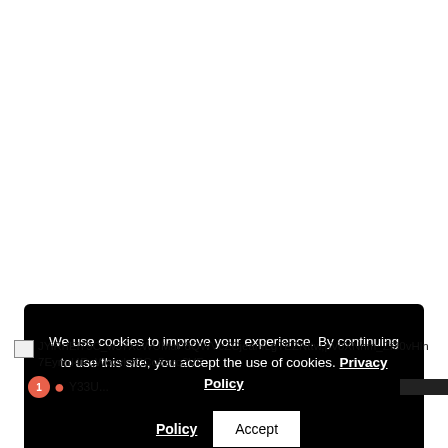[Figure (screenshot): Cookie consent banner on a dark background. Text reads: 'We use cookies to improve your experience. By continuing to use this site, you accept the use of cookies. Privacy Policy' with an Accept button.]
[Figure (screenshot): Broken image placeholder followed by a long filename: JYiRrIEI79C_w37XcWUMaP8QWVcZCjeanILgTEZNttw,pVoXNnm_Zf30vHln7Eymd4RqWozykyCCo5zcq3VF. Below is a partially visible row with a numbered orange circle icon and a dark bar element.]